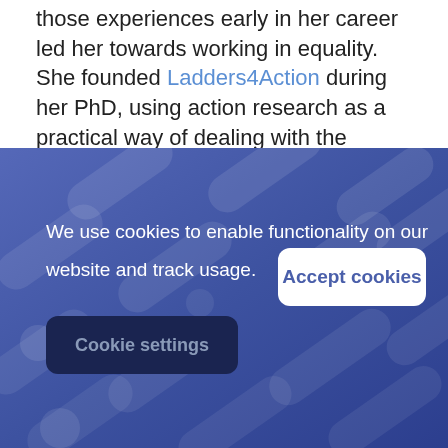...These experiences early in her career led her towards working in equality. She founded Ladders4Action during her PhD, using action research as a practical way of dealing with the complexities of learning from experience, and connecting knowledge and action together.
[Figure (screenshot): Cookie consent overlay on a blue gradient background with decorative pill/capsule shapes. Contains text 'We use cookies to enable functionality on our website and track usage.' with 'Accept cookies' white button and 'Cookie settings' dark button.]